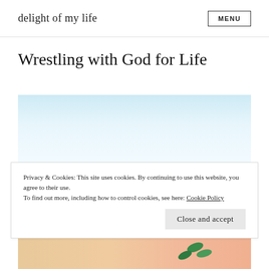delight of my life   MENU
Wrestling with God for Life
[Figure (photo): Light blue sky gradient background image]
Privacy & Cookies: This site uses cookies. By continuing to use this website, you agree to their use.
To find out more, including how to control cookies, see here: Cookie Policy
Close and accept
[Figure (photo): Partial photo strip showing a person's hand holding green object against peach/skin background]